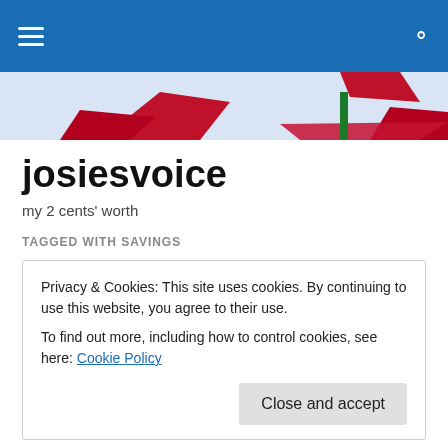josiesvoice — navigation bar with hamburger menu and search icon
[Figure (illustration): Banner strip with decorative illustration showing red and green shapes on a light blue background]
josiesvoice
my 2 cents' worth
TAGGED WITH SAVINGS
Louis Vuitton Bag in a Flea Market?
Privacy & Cookies: This site uses cookies. By continuing to use this website, you agree to their use.
To find out more, including how to control cookies, see here: Cookie Policy
Close and accept